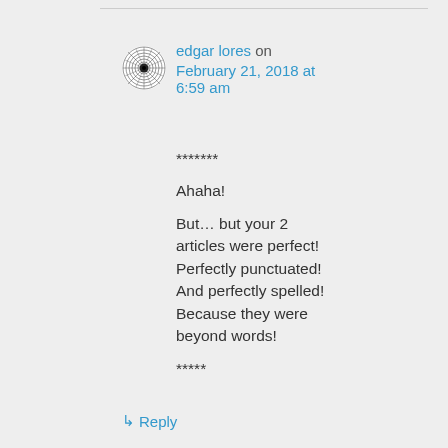edgar lores on February 21, 2018 at 6:59 am
*******

Ahaha!

But… but your 2 articles were perfect! Perfectly punctuated! And perfectly spelled! Because they were beyond words!

*****
↳ Reply